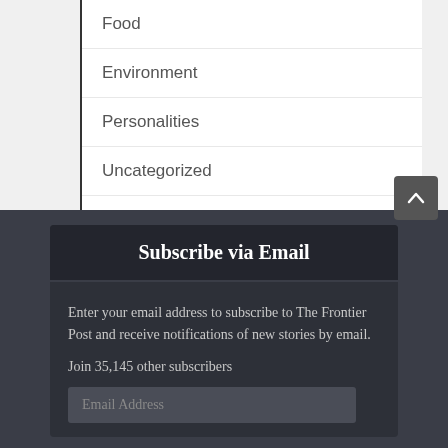Food
Environment
Personalities
Uncategorized
Subscribe via Email
Enter your email address to subscribe to The Frontier Post and receive notifications of new stories by email.
Join 35,145 other subscribers